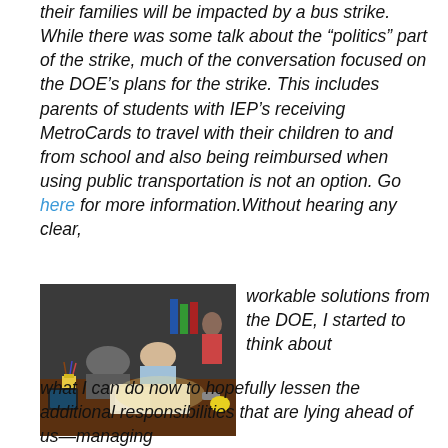their families will be impacted by a bus strike. While there was some talk about the “politics” part of the strike, much of the conversation focused on the DOE’s plans for the strike. This includes parents of students with IEP’s receiving MetroCards to travel with their children to and from school and also being reimbursed when using public transportation is not an option. Go here for more information.Without hearing any clear,
[Figure (photo): A parent and child sitting at a table, the child writing or drawing in a book while the parent leans over to help, in a home setting.]
workable solutions from the DOE, I started to think about what I can do now to hopefully lessen the additional responsibilities that are lying ahead of us—managing